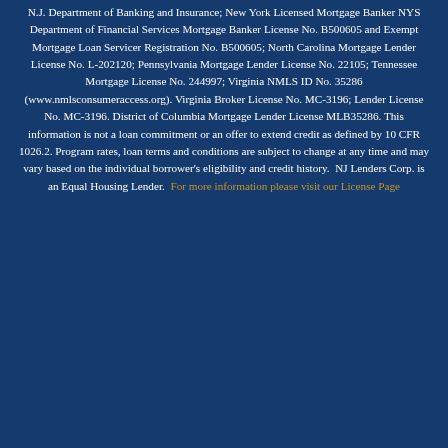N.J. Department of Banking and Insurance; New York Licensed Mortgage Banker NYS Department of Financial Services Mortgage Banker License No. B500605 and Exempt Mortgage Loan Servicer Registration No. B500605; North Carolina Mortgage Lender License No. L-202120; Pennsylvania Mortgage Lender License No. 22105; Tennessee Mortgage License No. 244997; Virginia NMLS ID No. 35286 (www.nmlsconsumeraccess.org). Virginia Broker License No. MC-3196; Lender License No. MC-3196. District of Columbia Mortgage Lender License MLB35286. This information is not a loan commitment or an offer to extend credit as defined by 10 CFR 1026.2. Program rates, loan terms and conditions are subject to change at any time and may vary based on the individual borrower's eligibility and credit history. NJ Lenders Corp. is an Equal Housing Lender. For more information please visit our License Page